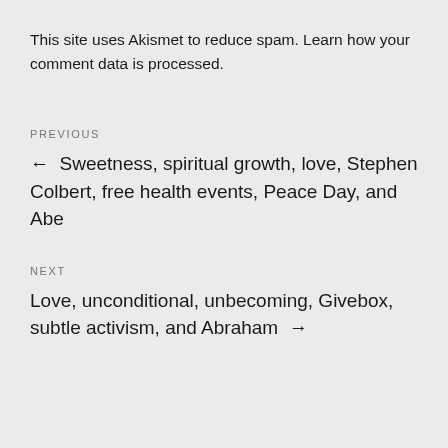This site uses Akismet to reduce spam. Learn how your comment data is processed.
PREVIOUS
← Sweetness, spiritual growth, love, Stephen Colbert, free health events, Peace Day, and Abe
NEXT
Love, unconditional, unbecoming, Givebox, subtle activism, and Abraham →